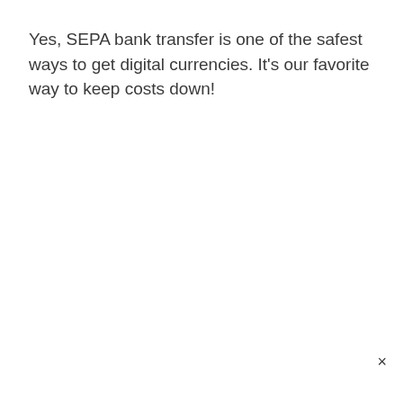Yes, SEPA bank transfer is one of the safest ways to get digital currencies. It's our favorite way to keep costs down!